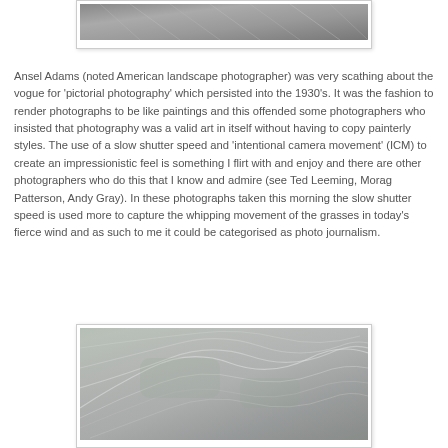[Figure (photo): Close-up photograph of windswept grasses in muted grey-green tones, partially visible at top of page]
Ansel Adams (noted American landscape photographer) was very scathing about the vogue for 'pictorial photography' which persisted into the 1930's. It was the fashion to render photographs to be like paintings and this offended some photographers who insisted that photography was a valid art in itself without having to copy painterly styles. The use of a slow shutter speed and 'intentional camera movement' (ICM) to create an impressionistic feel is something I flirt with and enjoy and there are other photographers who do this that I know and admire (see Ted Leeming, Morag Patterson, Andy Gray). In these photographs taken this morning the slow shutter speed is used more to capture the whipping movement of the grasses in today's fierce wind and as such to me it could be categorised as photo journalism.
[Figure (photo): Close-up photograph of windswept grasses with silvery-grey tones showing motion blur from wind]